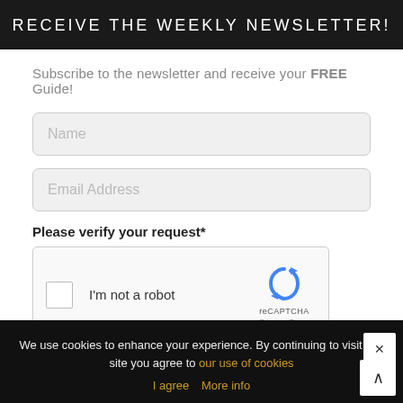RECEIVE THE WEEKLY NEWSLETTER!
Subscribe to the newsletter and receive your FREE Guide!
Name
Email Address
Please verify your request*
[Figure (other): reCAPTCHA widget with checkbox labeled 'I'm not a robot' and the reCAPTCHA logo with Privacy - Terms links]
We use cookies to enhance your experience. By continuing to visit this site you agree to our use of cookies
I agree  More info